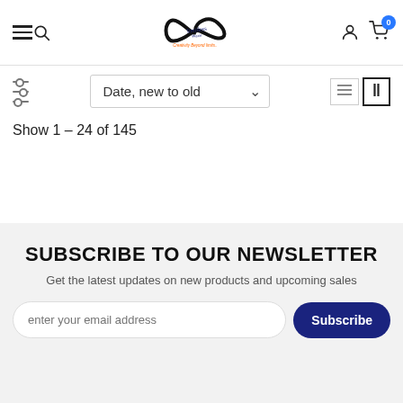[Figure (logo): Limitless Wave brand logo — infinity symbol with script text and orange tagline 'Creativity Beyond limits']
Show 1 – 24 of 145
SUBSCRIBE TO OUR NEWSLETTER
Get the latest updates on new products and upcoming sales
enter your email address
Subscribe